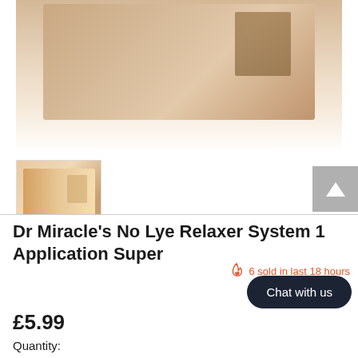[Figure (photo): Product photo of Dr Miracle's No Lye Relaxer System box with thumbnail image below it and a back-to-top arrow button on the right]
Dr Miracle's No Lye Relaxer System 1 Application Super
6 sold in last 18 hours
Chat with us
£5.99
Quantity: